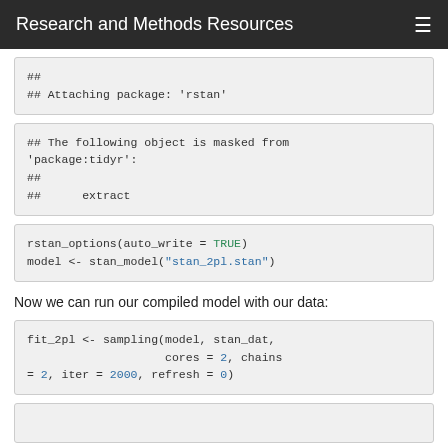Research and Methods Resources
##
## Attaching package: 'rstan'
## The following object is masked from 'package:tidyr':
##
##     extract
rstan_options(auto_write = TRUE)
model <- stan_model("stan_2pl.stan")
Now we can run our compiled model with our data:
fit_2pl <- sampling(model, stan_dat,
                    cores = 2, chains = 2, iter = 2000, refresh = 0)